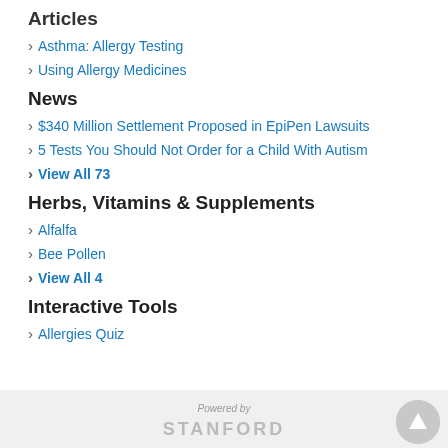Articles
Asthma: Allergy Testing
Using Allergy Medicines
News
$340 Million Settlement Proposed in EpiPen Lawsuits
5 Tests You Should Not Order for a Child With Autism
View All 73
Herbs, Vitamins & Supplements
Alfalfa
Bee Pollen
View All 4
Interactive Tools
Allergies Quiz
Powered by